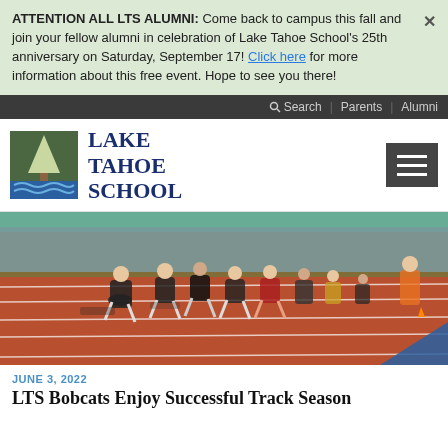ATTENTION ALL LTS ALUMNI: Come back to campus this fall and join your fellow alumni in celebration of Lake Tahoe School's 25th anniversary on Saturday, September 17! Click here for more information about this free event. Hope to see you there!
Search | Parents | Alumni
[Figure (logo): Lake Tahoe School logo with pine tree and water waves on green/blue background, next to text 'LAKE TAHOE SCHOOL' in navy serif font]
[Figure (photo): Track and field race photo showing multiple student runners in black uniforms sprinting on a red track, with spectators and officials in the background]
JUNE 3, 2022
LTS Bobcats Enjoy Successful Track Season